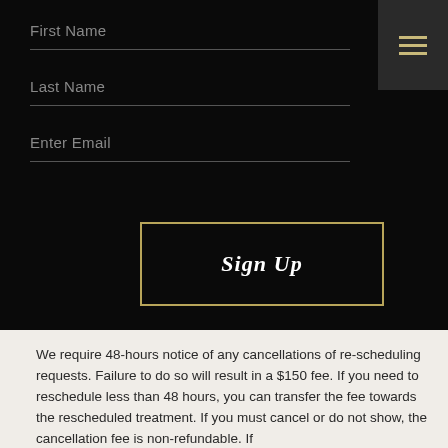[Figure (screenshot): Navigation menu hamburger icon button in dark gray box, top-right corner, with three gold/tan horizontal lines]
First Name
Last Name
Enter Email
Sign Up
We require 48-hours notice of any cancellations of re-scheduling requests. Failure to do so will result in a $150 fee. If you need to reschedule less than 48 hours, you can transfer the fee towards the rescheduled treatment. If you must cancel or do not show, the cancellation fee is non-refundable. If